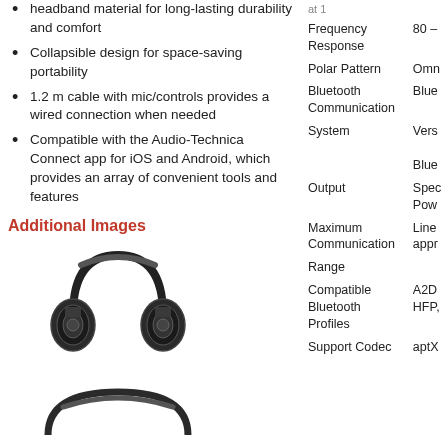headband material for long-lasting durability and comfort
Collapsible design for space-saving portability
1.2 m cable with mic/controls provides a wired connection when needed
Compatible with the Audio-Technica Connect app for iOS and Android, which provides an array of convenient tools and features
Additional Images
[Figure (photo): Black over-ear headphones (Audio-Technica) viewed from front angle]
[Figure (photo): Partial view of headphones from above/side]
| Specification | Value |
| --- | --- |
| Frequency Response | 80 – |
| Polar Pattern | Omn |
| Bluetooth Communication System | Blue Vers Blue |
| Output | Spec Pow |
| Maximum Communication Range | Line appr |
| Compatible Bluetooth Profiles | A2D HFP, |
| Support Codec | aptX |